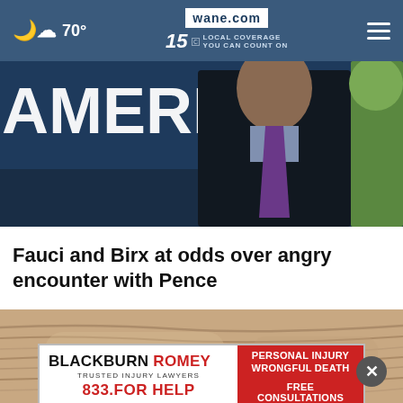wane.com 15 LOCAL COVERAGE YOU CAN COUNT ON 70°
[Figure (photo): Man in dark suit with purple tie standing in front of a blue background with the word AMERICA, another person partially visible on the right]
Fauci and Birx at odds over angry encounter with Pence
[Figure (photo): Close-up photo of wrinkled skin texture]
[Figure (other): Advertisement: BLACKBURN ROMEY TRUSTED INJURY LAWYERS 833.FOR HELP — PERSONAL INJURY WRONGFUL DEATH FREE CONSULTATIONS]